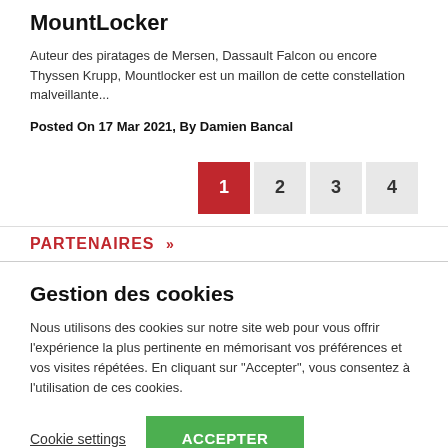MountLocker
Auteur des piratages de Mersen, Dassault Falcon ou encore Thyssen Krupp, Mountlocker est un maillon de cette constellation malveillante...
Posted On 17 Mar 2021, By Damien Bancal
Pagination: 1 2 3 4
PARTENAIRES »
Gestion des cookies
Nous utilisons des cookies sur notre site web pour vous offrir l'expérience la plus pertinente en mémorisant vos préférences et vos visites répétées. En cliquant sur "Accepter", vous consentez à l'utilisation de ces cookies.
Cookie settings | ACCEPTER